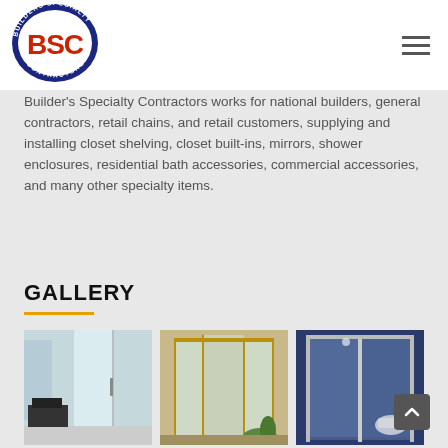[Figure (logo): BSC Builders Specialty Contractors logo — blue oval with 'BSC' in red letters and 'BUILDERS SPECIALTY CONTRACTORS' text around the oval in white on blue]
Builder's Specialty Contractors works for national builders, general contractors, retail chains, and retail customers, supplying and installing closet shelving, closet built-ins, mirrors, shower enclosures, residential bath accessories, commercial accessories, and many other specialty items.
GALLERY
[Figure (photo): Interior room with frosted glass partition wall and window]
[Figure (photo): Frameless glass shower enclosure with gold fixtures]
[Figure (photo): Bathroom with glass sliding shower door and blue wall]